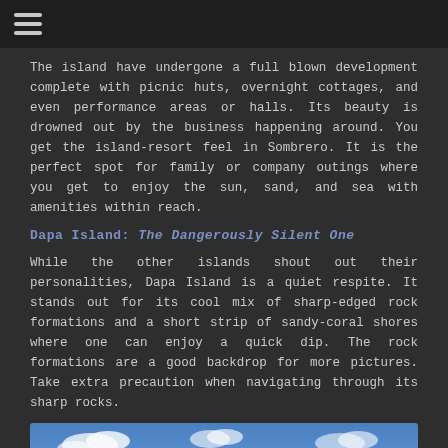☰
The island have undergone a full blown development complete with picnic huts, overnight cottages, and even performance areas or halls. Its beauty is drowned out by the business happening around. You get the island-resort feel in Sombrero. It is the perfect spot for family or company outings where you get to enjoy the sun, sand, and sea with amenities within reach.
Dapa Island: The Dangerously Silent One
While the other islands shout out their personalities, Dapa Island is a quiet respite. It stands out for its cool mix of sharp-edged rock formations and a short strip of sandy-coral shores where one can enjoy a quick dip. The rock formations are a good backdrop for more pictures. Take extra precaution when navigating through its sharp rocks.
[Figure (photo): Blue sky with clouds, partial view of a coastal/island scene]